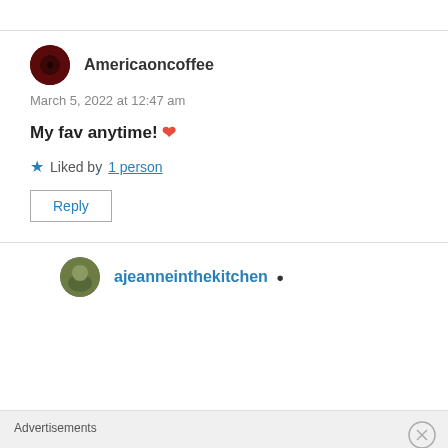Americaoncoffee
March 5, 2022 at 12:47 am
My fav anytime! ❤
Liked by 1 person
Reply
ajeanneinthekitchen
Advertisements